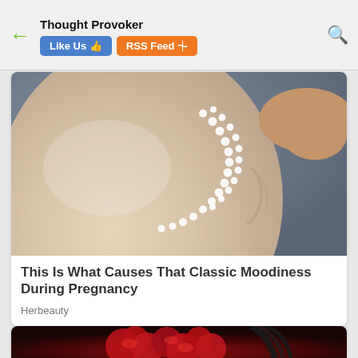Thought Provoker | Like Us | RSS Feed
[Figure (photo): Close-up photo of a pregnant belly with small water droplets or beads arranged in a curved line across the skin]
This Is What Causes That Classic Moodiness During Pregnancy
Herbeauty
[Figure (photo): Partial image of a woman with red roses, only top of image visible]